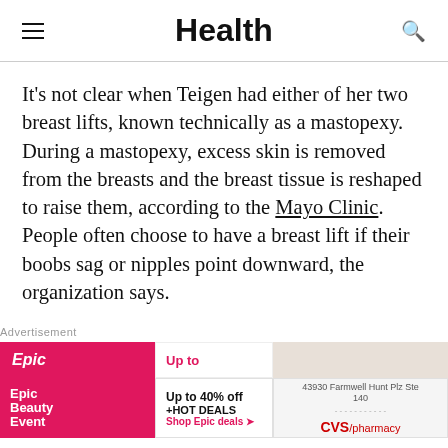Health
It's not clear when Teigen had either of her two breast lifts, known technically as a mastopexy. During a mastopexy, excess skin is removed from the breasts and the breast tissue is reshaped to raise them, according to the Mayo Clinic. People often choose to have a breast lift if their boobs sag or nipples point downward, the organization says.
[Figure (other): Advertisement banner showing Epic Beauty Event ad and CVS pharmacy local ad]